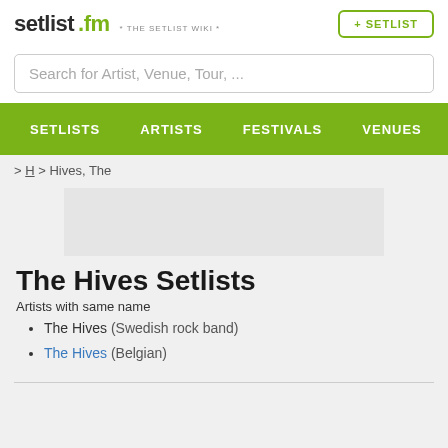setlist.fm * THE SETLIST WIKI * + SETLIST
Search for Artist, Venue, Tour, ...
SETLISTS  ARTISTS  FESTIVALS  VENUES
> H > Hives, The
The Hives Setlists
Artists with same name
The Hives (Swedish rock band)
The Hives (Belgian)